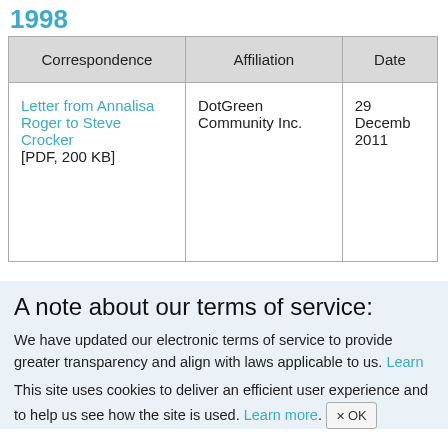1998
| Correspondence | Affiliation | Date |
| --- | --- | --- |
| Letter from Annalisa Roger to Steve Crocker [PDF, 200 KB] | DotGreen Community Inc. | 29 December 2011 |
A note about our terms of service:
We have updated our electronic terms of service to provide greater transparency and align with laws applicable to us. Learn more.
This site uses cookies to deliver an efficient user experience and to help us see how the site is used. Learn more. OK